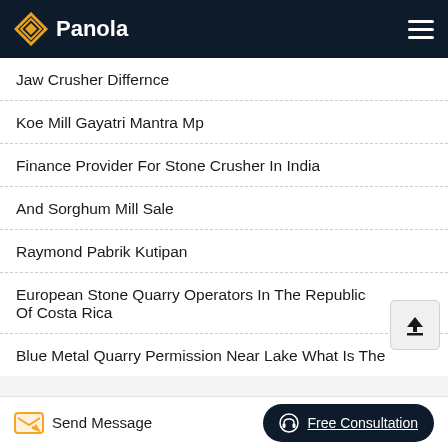Panola
Jaw Crusher Differnce
Koe Mill Gayatri Mantra Mp
Finance Provider For Stone Crusher In India
And Sorghum Mill Sale
Raymond Pabrik Kutipan
European Stone Quarry Operators In The Republic Of Costa Rica
Blue Metal Quarry Permission Near Lake What Is The
Send Message  Free Consultation